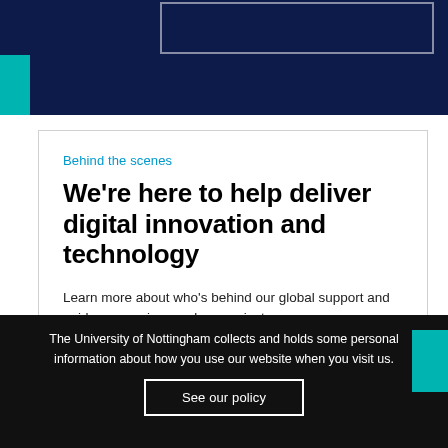[Figure (other): Dark navy blue top banner with a teal bar on the left and a white outlined rectangle at the top]
Behind the scenes
We're here to help deliver digital innovation and technology
Learn more about who's behind our global support and guidance services and our project
The University of Nottingham collects and holds some personal information about how you use our website when you visit us.
See our policy